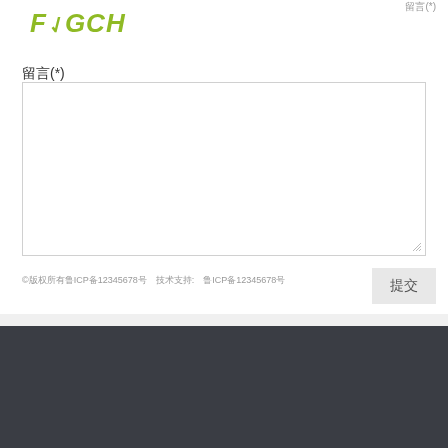[Figure (logo): F2GCH logo in yellow-green stylized text]
留言(*)
[Figure (screenshot): Empty textarea input box for user message]
©版权所有鲁ICP备12345678号技术支持: 鲁ICP备
提交
第2页
[Figure (logo): WeChat QR code icon square]